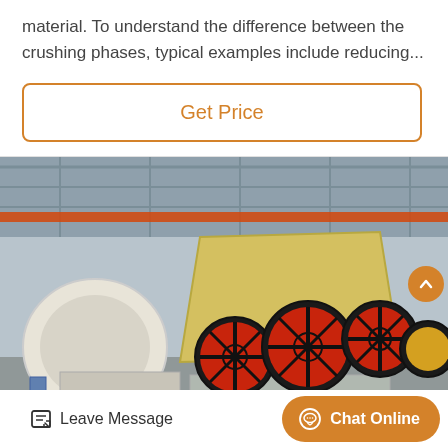material. To understand the difference between the crushing phases, typical examples include reducing...
Get Price
[Figure (photo): Industrial jaw crusher and impact crusher machines in a manufacturing facility. Large machines with red and white flywheel assemblies visible inside a steel-frame factory building with overhead cranes.]
Leave Message
Chat Online